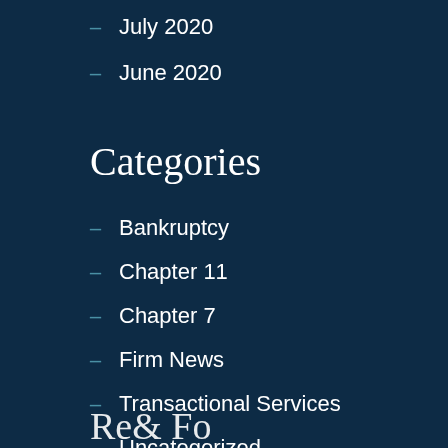July 2020
June 2020
Categories
Bankruptcy
Chapter 11
Chapter 7
Firm News
Transactional Services
Uncategorized